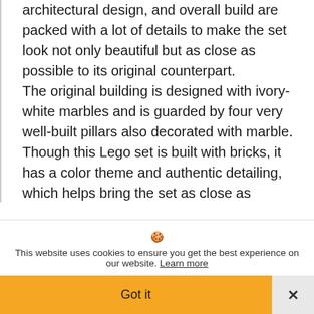architectural design, and overall build are packed with a lot of details to make the set look not only beautiful but as close as possible to its original counterpart. The original building is designed with ivory-white marbles and is guarded by four very well-built pillars also decorated with marble. Though this Lego set is built with bricks, it has a color theme and authentic detailing, which helps bring the set as close as possible to its original counterpart. This famous set which has a much older set
🍪 This website uses cookies to ensure you get the best experience on our website. Learn more
Got it